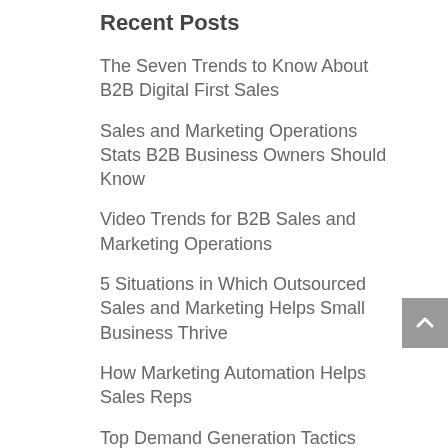Recent Posts
The Seven Trends to Know About B2B Digital First Sales
Sales and Marketing Operations Stats B2B Business Owners Should Know
Video Trends for B2B Sales and Marketing Operations
5 Situations in Which Outsourced Sales and Marketing Helps Small Business Thrive
How Marketing Automation Helps Sales Reps
Top Demand Generation Tactics You Can Implement and Immediately to Set More